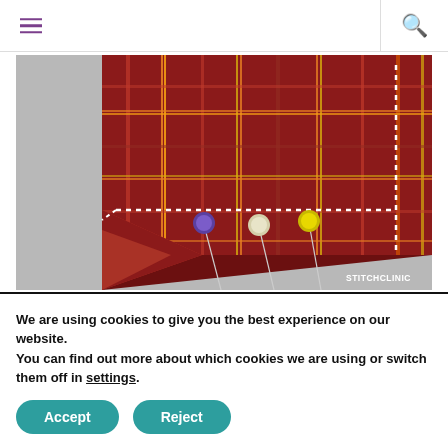Navigation bar with hamburger menu and search icon
[Figure (photo): Close-up photo of red plaid/tartan fabric with white dotted stitch lines along the corner/edge, and three sewing pins (with purple, white/cream, and yellow round heads) placed on gray background below the fabric edge. Watermark reads STITCHCLINIC.]
All pinned and ready to sew
We are using cookies to give you the best experience on our website.
You can find out more about which cookies we are using or switch them off in settings.
Accept  Reject